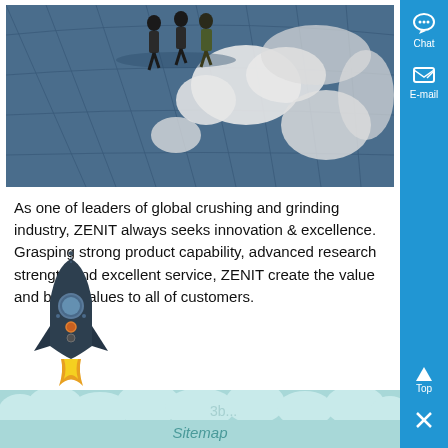[Figure (photo): Aerial view of business people walking on a large world map floor graphic with grid lines, showing Europe and surrounding regions in blue tile with white continents]
As one of leaders of global crushing and grinding industry, ZENIT always seeks innovation & excellence. Grasping strong product capability, advanced research strength and excellent service, ZENIT create the value and bring values to all of customers.
[Figure (illustration): Rocket ship illustration with dark body, orange and yellow flame, small circular windows]
[Figure (illustration): Light blue cloud-shaped footer/wave decoration at the bottom of the page]
Sitemap